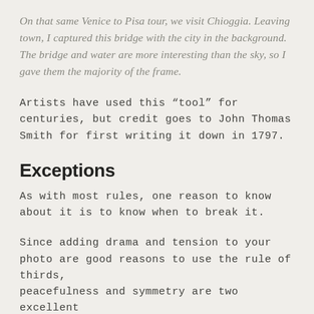On that same Venice to Pisa tour, we visit Chioggia. Leaving town, I captured this bridge with the city in the background. The bridge and water are more interesting than the sky, so I gave them the majority of the frame.
Artists have used this “tool” for centuries, but credit goes to John Thomas Smith for first writing it down in 1797.
Exceptions
As with most rules, one reason to know about it is to know when to break it.
Since adding drama and tension to your photo are good reasons to use the rule of thirds, peacefulness and symmetry are two excellent